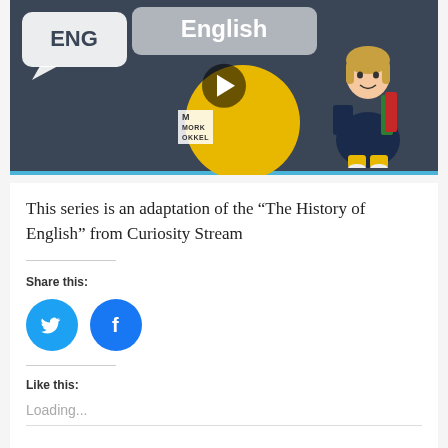[Figure (screenshot): Video thumbnail showing an educational English language video with speech bubbles saying 'ENG' and 'English', a play button, yellow circle, cartoon character of a teacher holding books, and a blue progress bar at the bottom. Branded with 'MORK' logo.]
This series is an adaptation of the “The History of English” from Curiosity Stream
Share this:
[Figure (other): Twitter share button - blue circle with white Twitter bird icon]
[Figure (other): Facebook share button - blue circle with white Facebook 'f' icon]
Like this:
Loading...